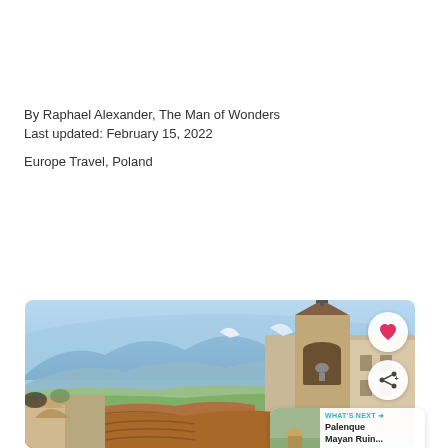By Raphael Alexander, The Man of Wonders
Last updated: February 15, 2022
Europe Travel, Poland
[Figure (photo): Aerial view of a hilltop town with a bell tower in the foreground and mountain landscape stretching into the blue-hazed horizon behind it. Red tile rooftops visible in lower portion.]
WHAT'S NEXT → Palenque Mayan Ruin...